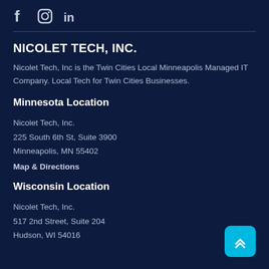[Figure (other): Social media icons: Facebook (f), Instagram (circle/square icon), LinkedIn (in)]
NICOLET TECH, INC.
Nicolet Tech, Inc is the Twin Cities Local Minneapolis Managed IT Company. Local Tech for Twin Cities Businesses.
Minnesota Location
Nicolet Tech, Inc.
225 South 6th St, Suite 3900
Minneapolis, MN 55402
Map & Directions
Wisconsin Location
Nicolet Tech, Inc.
517 2nd Street, Suite 204
Hudson, WI 54016
[Figure (other): Scroll to top button: cyan rounded square with double up-chevron arrow]